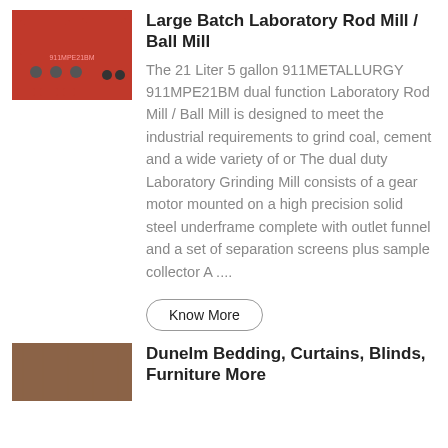[Figure (photo): Photo of a red and black laboratory rod mill / ball mill machine on a control panel]
Large Batch Laboratory Rod Mill / Ball Mill
The 21 Liter 5 gallon 911METALLURGY 911MPE21BM dual function Laboratory Rod Mill / Ball Mill is designed to meet the industrial requirements to grind coal, cement and a wide variety of or The dual duty Laboratory Grinding Mill consists of a gear motor mounted on a high precision solid steel underframe complete with outlet funnel and a set of separation screens plus sample collector A ....
Know More
[Figure (photo): Photo of wooden/laminate flooring with a brown surface]
Dunelm Bedding, Curtains, Blinds, Furniture More